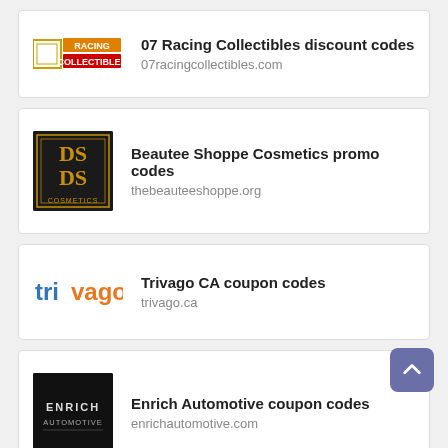07 Racing Collectibles discount codes
07racingcollectibles.com
Beautee Shoppe Cosmetics promo codes
thebeauteeshoppe.org
Trivago CA coupon codes
trivago.ca
Enrich Automotive coupon codes
enrichautomotive.com
The Site Slinger promo codes